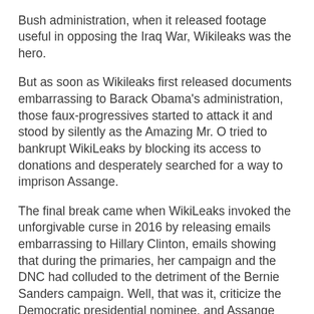Bush administration, when it released footage useful in opposing the Iraq War, Wikileaks was the hero.
But as soon as Wikileaks first released documents embarrassing to Barack Obama's administration, those faux-progressives started to attack it and stood by silently as the Amazing Mr. O tried to bankrupt WikiLeaks by blocking its access to donations and desperately searched for a way to imprison Assange.
The final break came when WikiLeaks invoked the unforgivable curse in 2016 by releasing emails embarrassing to Hillary Clinton, emails showing that during the primaries, her campaign and the DNC had colluded to the detriment of the Bernie Sanders campaign. Well, that was it, criticize the Democratic presidential nominee, and Assange and Wikileaks instantly became part of some anti-American cabal.
Indeed, on one of the and possibly the biggest of the faux-progressive sites, DailyKos, Assange became routinely described by the homophobic term "Putin's butt-boy" with the